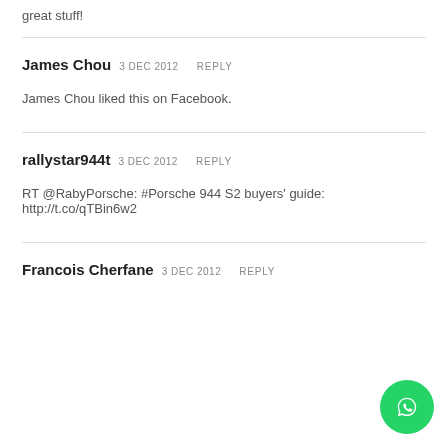great stuff!
James Chou  3 DEC 2012  REPLY
James Chou liked this on Facebook.
rallystar944t  3 DEC 2012  REPLY
RT @RabyPorsche: #Porsche 944 S2 buyers' guide: http://t.co/qTBin6w2
Francois Cherfane  3 DEC 2012  REPLY
[Figure (logo): WhatsApp floating button icon, green circle with white phone handset]